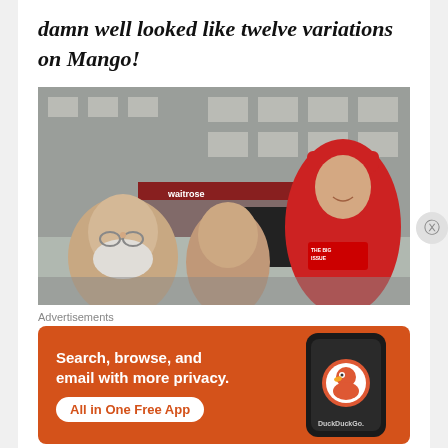damn well looked like twelve variations on Mango!
[Figure (photo): Three men posing outdoors on a city street. Left: older man with white beard and glasses wearing dark shirt. Center: shorter man with reddish hair in dark clothing. Right: tall smiling man wearing red cap and red Big Issue vendor vest. Urban building background with Waitrose Local store visible.]
Advertisements
[Figure (screenshot): DuckDuckGo advertisement on orange/red background. Left text: 'Search, browse, and email with more privacy. All in One Free App' with white button. Right: phone mockup showing DuckDuckGo logo and name.]